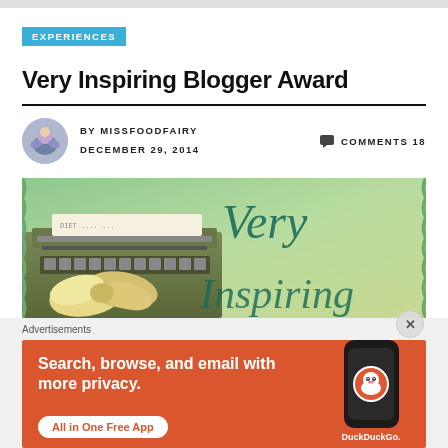EXPERIENCES
Very Inspiring Blogger Award
BY MISSFOODFAIRY   COMMENTS 18
DECEMBER 29, 2014
[Figure (photo): Featured blog post image showing a typewriter with a gold ribbon bow, green background with cursive text reading 'Very Inspiring']
Advertisements
[Figure (screenshot): DuckDuckGo advertisement banner: Search, browse, and email with more privacy. All in One Free App. Shows DuckDuckGo logo on a phone on orange background.]